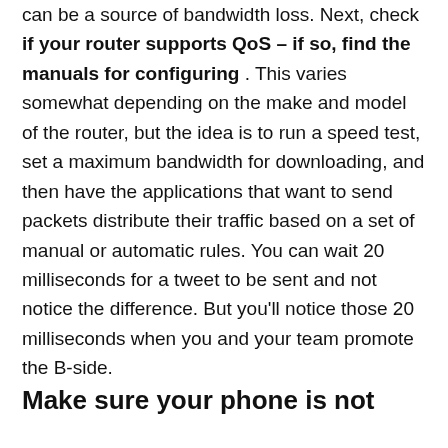a password. Any device (including your neighbors) can be a source of bandwidth loss. Next, check if your router supports QoS – if so, find the manuals for configuring . This varies somewhat depending on the make and model of the router, but the idea is to run a speed test, set a maximum bandwidth for downloading, and then have the applications that want to send packets distribute their traffic based on a set of manual or automatic rules. You can wait 20 milliseconds for a tweet to be sent and not notice the difference. But you'll notice those 20 milliseconds when you and your team promote the B-side.
Make sure your phone is not